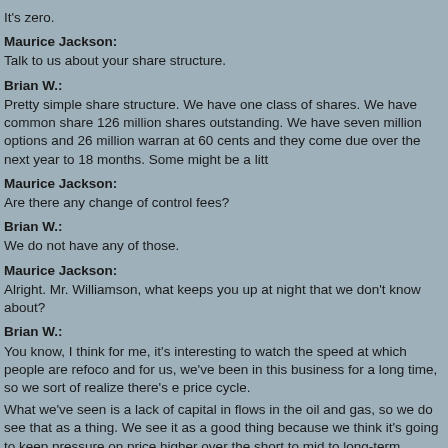It's zero.
Maurice Jackson:
Talk to us about your share structure.
Brian W.:
Pretty simple share structure. We have one class of shares. We have common share 126 million shares outstanding. We have seven million options and 26 million warran at 60 cents and they come due over the next year to 18 months. Some might be a litt
Maurice Jackson:
Are there any change of control fees?
Brian W.:
We do not have any of those.
Maurice Jackson:
Alright. Mr. Williamson, what keeps you up at night that we don't know about?
Brian W.:
You know, I think for me, it's interesting to watch the speed at which people are refoco and for us, we've been in this business for a long time, so we sort of realize there's e price cycle.
What we've seen is a lack of capital in flows in the oil and gas, so we do see that as a thing. We see it as a good thing because we think it's going to keep pressure on price higher over the short to mid to long-term periods, so that's a positive. The negative b